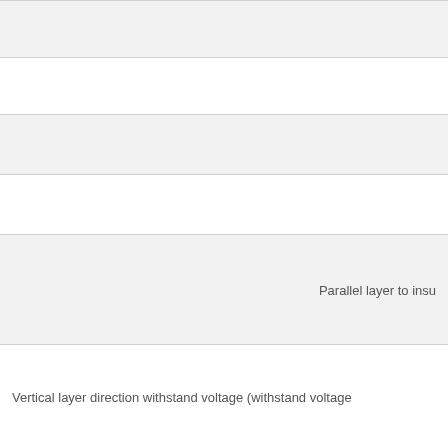|  |  |
|  |  |
|  |  |
|  |  |
|  | Parallel layer to insu... |
| Vertical layer direction withstand voltage (withstand voltage... |  |